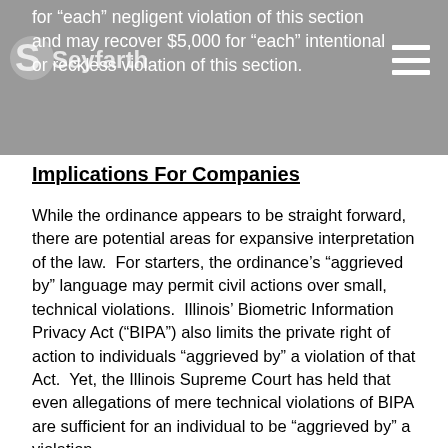for “each” negligent violation of this section and may recover $5,000 for “each” intentional or reckless violation of this section.
Implications For Companies
While the ordinance appears to be straight forward, there are potential areas for expansive interpretation of the law.  For starters, the ordinance’s “agrieved by” language may permit civil actions over small, technical violations.  Illinois’ Biometric Information Privacy Act (“BIPA”) also limits the private right of action to individuals “aggrieved by” a violation of that Act.  Yet, the Illinois Supreme Court has held that even allegations of mere technical violations of BIPA are sufficient for an individual to be “aggrieved by” a violation.